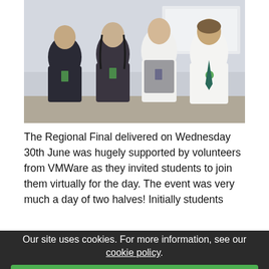[Figure (photo): Group photo of four students standing together in a classroom/event setting, wearing school uniforms with lanyards and badges.]
The Regional Final delivered on Wednesday 30th June was hugely supported by volunteers from VMWare as they invited students to join them virtually for the day. The event was very much a day of two halves! Initially students shared their Community Start-Up business idea ... judges. Then during the afternoon students heard first-hand about VMWare, their products, their ... and most importantly their people, as they were introduced ... of ... them through their roles within the company.
Our site uses cookies. For more information, see our cookie policy. Accept cookies and close. Reject cookies. Manage settings.